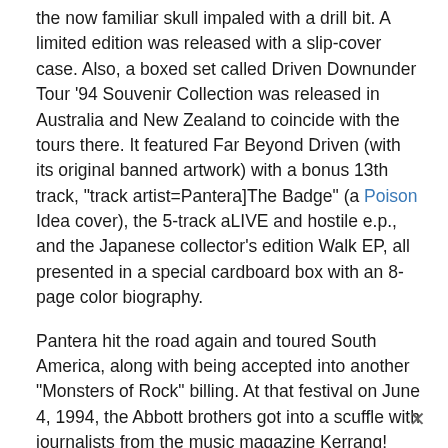the now familiar skull impaled with a drill bit. A limited edition was released with a slip-cover case. Also, a boxed set called Driven Downunder Tour '94 Souvenir Collection was released in Australia and New Zealand to coincide with the tours there. It featured Far Beyond Driven (with its original banned artwork) with a bonus 13th track, "track artist=Pantera]The Badge" (a Poison Idea cover), the 5-track aLIVE and hostile e.p., and the Japanese collector's edition Walk EP, all presented in a special cardboard box with an 8-page color biography.
Pantera hit the road again and toured South America, along with being accepted into another "Monsters of Rock" billing. At that festival on June 4, 1994, the Abbott brothers got into a scuffle with journalists from the music magazine Kerrang! over unflattering cartoon depictions of drummer Vinnie Paul. Then in late June, Anselmo was charged with